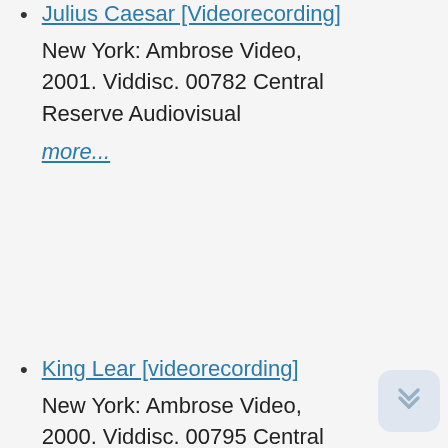Julius Caesar [Videorecording]
New York: Ambrose Video, 2001. Viddisc. 00782 Central Reserve Audiovisual
more...
King Lear [videorecording]
New York: Ambrose Video, 2000. Viddisc. 00795 Central Reserve Audiovisual
more...
King Richard the Second [videorecording]
New York: Ambrose Video, 2000.